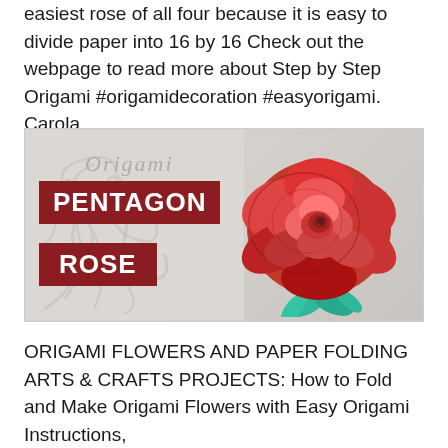easiest rose of all four because it is easy to divide paper into 16 by 16 Check out the webpage to read more about Step by Step Origami #origamidecoration #easyorigami. Carola
[Figure (photo): Origami Pentagon Rose tutorial thumbnail image showing a red origami rose with teal green leaves on a light gray background, with 'Origami' watermark text and two dark red banners reading 'PENTAGON' and 'ROSE']
ORIGAMI FLOWERS AND PAPER FOLDING ARTS & CRAFTS PROJECTS: How to Fold and Make Origami Flowers with Easy Origami Instructions,